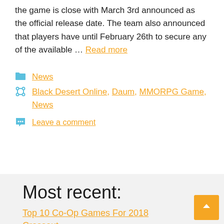the game is close with March 3rd announced as the official release date. The team also announced that players have until February 26th to secure any of the available … Read more
📁 News
🏷 Black Desert Online, Daum, MMORPG Game, News
💬 Leave a comment
Most recent:
Top 10 Co-Op Games For 2018
Crossout